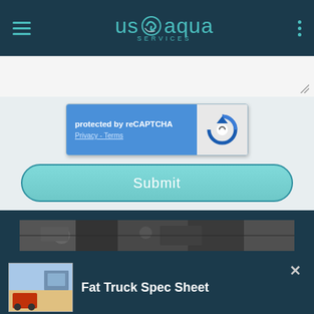usOaqua SERVICES
[Figure (screenshot): reCAPTCHA widget with 'protected by reCAPTCHA' text and Privacy - Terms links on blue background, with reCAPTCHA logo on white right side]
Submit
[Figure (photo): Black and white banner photo of industrial/mechanical equipment]
Fat Truck Spec Sheet
Download our Fat Truck spec sheet to learn more about Fat Truck and their features.